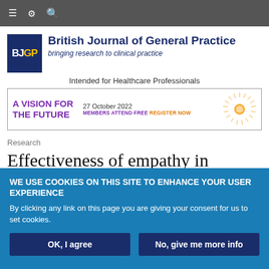≡ ⚙ 🔍
[Figure (logo): BJGP logo — dark blue square with white BJ and yellow GP text]
British Journal of General Practice
bringing research to clinical practice
Intended for Healthcare Professionals
[Figure (other): Advertisement banner: A VISION FOR THE FUTURE — 27 October 2022 MEMBERS ATTEND FREE REGISTER NOW, with decorative starburst graphic]
Research
Effectiveness of empathy in
WE USE COOKIES ON THIS SITE TO ENHANCE YOUR USER EXPERIENCE
By clicking any link on this page you are giving your consent for us to set cookies.
OK, I agree
No, give me more info